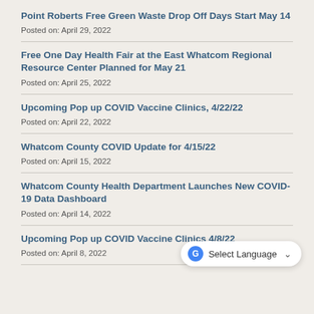Point Roberts Free Green Waste Drop Off Days Start May 14
Posted on: April 29, 2022
Free One Day Health Fair at the East Whatcom Regional Resource Center Planned for May 21
Posted on: April 25, 2022
Upcoming Pop up COVID Vaccine Clinics, 4/22/22
Posted on: April 22, 2022
Whatcom County COVID Update for 4/15/22
Posted on: April 15, 2022
Whatcom County Health Department Launches New COVID-19 Data Dashboard
Posted on: April 14, 2022
Upcoming Pop up COVID Vaccine Clinics 4/8/22
Posted on: April 8, 2022